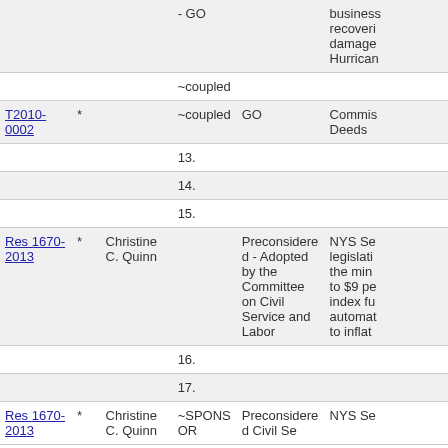| File | * | Sponsor | Co-Sponsor/Coupled | Status | Title/Description |
| --- | --- | --- | --- | --- | --- |
|  |  |  | - GO |  | business recovery damage Hurrican |
|  |  |  | ~coupled |  |  |
| T2010-0002 | * |  | ~coupled | GO | Commis Deeds |
|  |  |  | 13. |  |  |
|  |  |  | 14. |  |  |
|  |  |  | 15. |  |  |
| Res 1670-2013 | * | Christine C. Quinn |  | Preconsidered - Adopted by the Committee on Civil Service and Labor | NYS Se legislati the min to $9 pe index fu automat to inflat |
|  |  |  | 16. |  |  |
|  |  |  | 17. |  |  |
| Res 1670-2013 | * | Christine C. Quinn | ~SPONSOR | Preconsidered Civil Se | NYS Se |